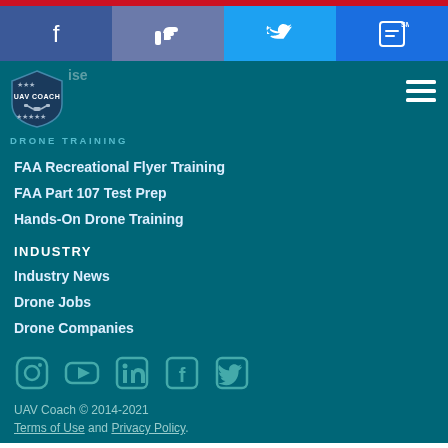[Figure (screenshot): Red top bar]
[Figure (screenshot): Social share bar with Facebook, Like, Twitter, SMS buttons]
[Figure (logo): UAV Coach logo shield with drone icon]
DRONE TRAINING
FAA Recreational Flyer Training
FAA Part 107 Test Prep
Hands-On Drone Training
INDUSTRY
Industry News
Drone Jobs
Drone Companies
[Figure (infographic): Social media icons row: Instagram, YouTube, LinkedIn, Facebook, Twitter]
UAV Coach © 2014-2021
Terms of Use and Privacy Policy.